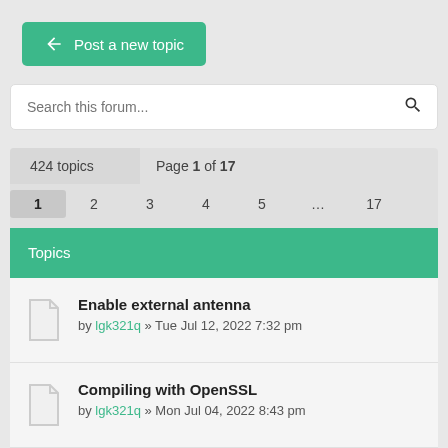Post a new topic
Search this forum...
424 topics  Page 1 of 17  1 2 3 4 5 ... 17
Topics
Enable external antenna by lgk321q » Tue Jul 12, 2022 7:32 pm
Compiling with OpenSSL by lgk321q » Mon Jul 04, 2022 8:43 pm